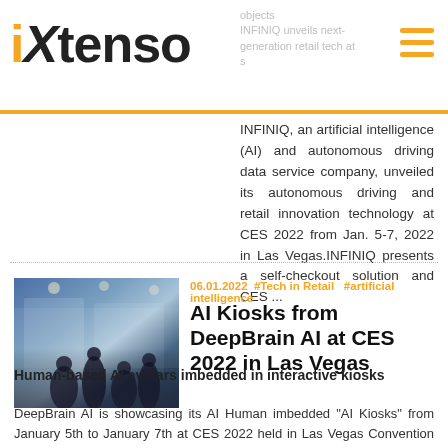iXtenso
INFINIQ, an artificial intelligence (AI) and autonomous driving data service company, unveiled its autonomous driving and retail innovation technology at CES 2022 from Jan. 5-7, 2022 in Las Vegas.INFINIQ presents a self-checkout solution and CES ...
06.01.2022  #Tech in Retail   #artificial intelligence
AI Kiosks from DeepBrain AI at CES 2022 in Las Vegas
Human-based AI avatars imbedded in interactive kiosks
DeepBrain AI is showcasing its AI Human imbedded "AI Kiosks" from January 5th to January 7th at CES 2022 held in Las Vegas Convention Center, along with its CES 2022 Innovation Awards honoree SaaS solution "AI Studio." AI...